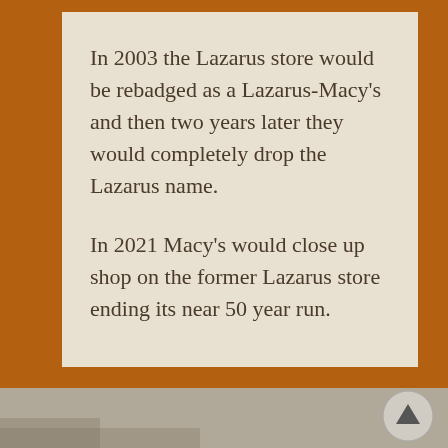In 2003 the Lazarus store would be rebadged as a Lazarus-Macy's and then two years later they would completely drop the Lazarus name.
In 2021 Macy's would close up shop on the former Lazarus store ending its near 50 year run.
[Figure (photo): Partial view of an outdoor scene with a scroll-up button overlay in the lower right corner]